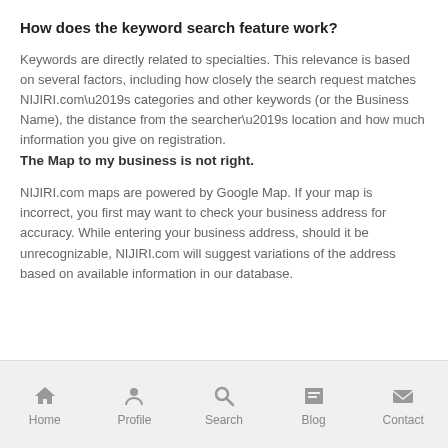How does the keyword search feature work?
Keywords are directly related to specialties. This relevance is based on several factors, including how closely the search request matches NIJIRI.com’s categories and other keywords (or the Business Name), the distance from the searcher’s location and how much information you give on registration.
The Map to my business is not right.
NIJIRI.com maps are powered by Google Map. If your map is incorrect, you first may want to check your business address for accuracy. While entering your business address, should it be unrecognizable, NIJIRI.com will suggest variations of the address based on available information in our database.
Home  Profile  Search  Blog  Contact